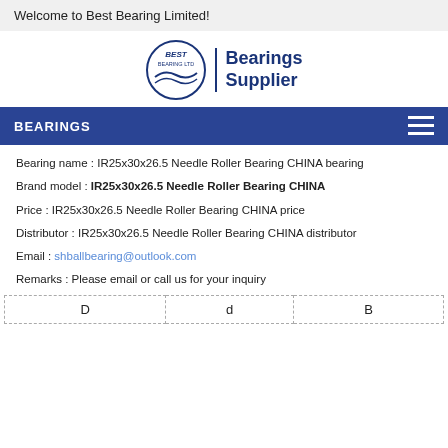Welcome to Best Bearing Limited!
[Figure (logo): Best Bearing Ltd logo: circular logo with wave design and text BEST BEARING LTD, followed by vertical divider and text Bearings Supplier in bold navy blue]
BEARINGS
Bearing name : IR25x30x26.5 Needle Roller Bearing CHINA bearing
Brand model : IR25x30x26.5 Needle Roller Bearing CHINA
Price : IR25x30x26.5 Needle Roller Bearing CHINA price
Distributor : IR25x30x26.5 Needle Roller Bearing CHINA distributor
Email : shballbearing@outlook.com
Remarks : Please email or call us for your inquiry
| D | d | B |
| --- | --- | --- |